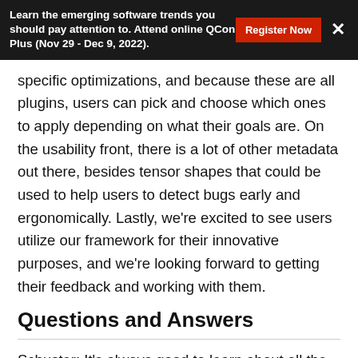Learn the emerging software trends you should pay attention to. Attend online QCon Plus (Nov 29 - Dec 9, 2022).
specific optimizations, and because these are all plugins, users can pick and choose which ones to apply depending on what their goals are. On the usability front, there is a lot of other metadata out there, besides tensor shapes that could be used to help users to detect bugs early and ergonomically. Lastly, we're excited to see users utilize our framework for their innovative purposes, and we're looking forward to getting their feedback and working with them.
Questions and Answers
Schuster: It's always good to learn about all the new research going on in this area. It definitely gave me